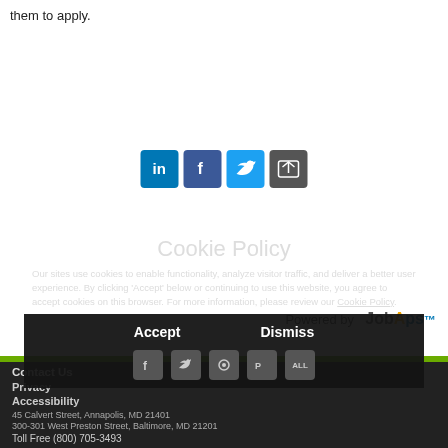them to apply.
[Figure (other): Social sharing icons: LinkedIn, Facebook, Twitter, and a share icon]
Powered by JobAps
Contact Us
Privacy
Accessibility
45 Calvert Street, Annapolis, MD 21401
300-301 West Preston Street, Baltimore, MD 21201
Toll Free (800) 705-3493
[Figure (other): Cookie Policy modal overlay with Accept and Dismiss buttons and social sharing icons row]
Cookie Policy
Our sites use cookies to enable functionality, analyze visitor traffic, and deliver a better user experience. By clicking 'Accept' below or continuing to use this website, you agree to accept cookies on this browser. For more information, please review our Cookie Policy.